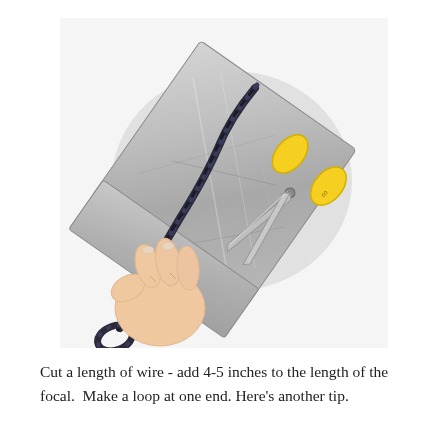[Figure (photo): A hand holding a dark twisted wire/rope against a metal plate, with yellow-handled scissors cutting through the wire on top of the metal plate. The background is white.]
Cut a length of wire - add 4-5 inches to the length of the focal.  Make a loop at one end. Here's another tip.